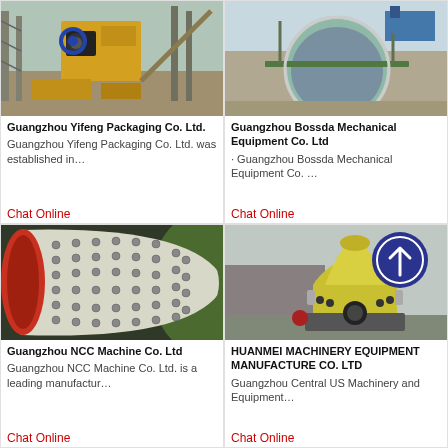[Figure (photo): Industrial machinery/crusher equipment at a construction or mining site with yellow cranes and scaffolding in background]
Guangzhou Yifeng Packaging Co. Ltd.
Guangzhou Yifeng Packaging Co. Ltd. was established in…
Chat Online
[Figure (photo): Large circular water treatment or thickener tank seen from above with a green arm/conveyor mechanism and blue structure at a facility]
Guangzhou Bossda Mechanical Equipment Co. Ltd
· Guangzhou Bossda Mechanical Equipment Co. …
Chat Online
[Figure (photo): Close-up interior of a large cylindrical ball mill showing the studded inner surface, red end ring, and green outer casing]
Guangzhou NCC Machine Co. Ltd
Guangzhou NCC Machine Co. Ltd. is a leading manufactur…
Chat Online
[Figure (photo): Yellow cone crusher machine outdoors at industrial facility with a blue circular arrow sign overlay on the image]
HUANMEI MACHINERY EQUIPMENT MANUFACTURE CO. LTD
Guangzhou Central US Machinery and Equipment…
Chat Online